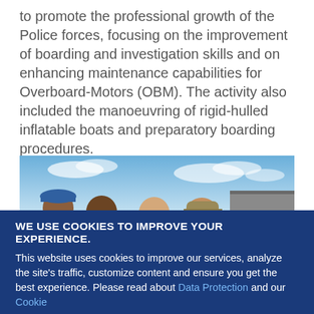to promote the professional growth of the Police forces, focusing on the improvement of boarding and investigation skills and on enhancing maintenance capabilities for Overboard-Motors (OBM). The activity also included the manoeuvring of rigid-hulled inflatable boats and preparatory boarding procedures.
[Figure (photo): Four people wearing face masks on a boat deck at sea. One person wears a blue beret and dark uniform, another wears an orange life vest, and two others wear desert camouflage military uniforms. Blue sky with clouds in background.]
WE USE COOKIES TO IMPROVE YOUR EXPERIENCE. This website uses cookies to improve our services, analyze the site's traffic, customize content and ensure you get the best experience. Please read about Data Protection and our Cookie